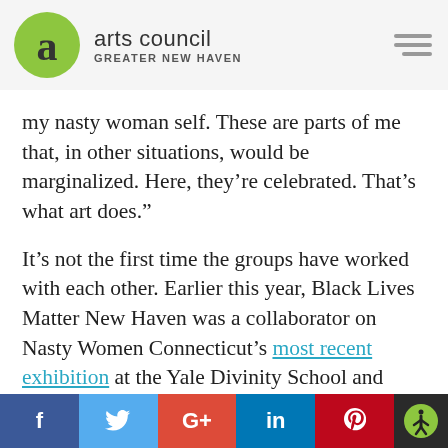arts council GREATER NEW HAVEN
my nasty woman self. These are parts of me that, in other situations, would be marginalized. Here, they’re celebrated. That’s what art does.”
It’s not the first time the groups have worked with each other. Earlier this year, Black Lives Matter New Haven was a collaborator on Nasty Women Connecticut’s most recent exhibition at the Yale Divinity School and
f  t  G+  in  p  [accessibility]